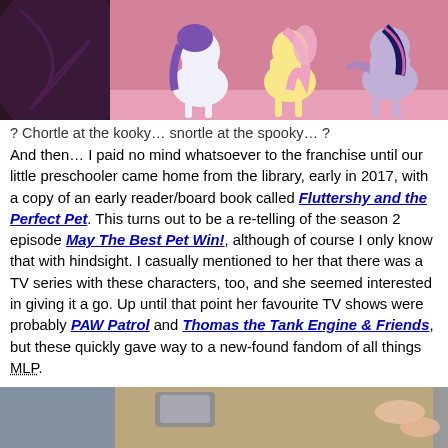[Figure (photo): Screenshot from My Little Pony animated show showing three pony characters (Rarity, Fluttershy, Twilight Sparkle) against a pink background]
? Chortle at the kooky… snortle at the spooky… ?
And then… I paid no mind whatsoever to the franchise until our little preschooler came home from the library, early in 2017, with a copy of an early reader/board book called Fluttershy and the Perfect Pet. This turns out to be a re-telling of the season 2 episode May The Best Pet Win!, although of course I only know that with hindsight. I casually mentioned to her that there was a TV series with these characters, too, and she seemed interested in giving it a go. Up until that point her favourite TV shows were probably PAW Patrol and Thomas the Tank Engine & Friends, but these quickly gave way to a new-found fandom of all things MLP.
[Figure (photo): Photo showing a book being held or read, partial view of hands and pages]